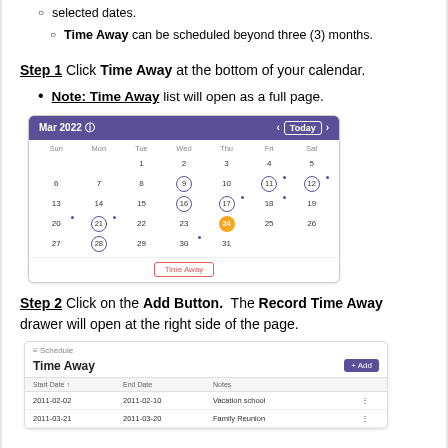selected dates.
Time Away can be scheduled beyond three (3) months.
Step 1 Click Time Away at the bottom of your calendar.
Note: Time Away list will open as a full page.
[Figure (screenshot): Calendar UI showing March 2022 with Today navigation, days of the week, numbered dates including some circled and highlighted dates, and a Time Away button at the bottom highlighted with a red border.]
Step 2 Click on the Add Button. The Record Time Away drawer will open at the right side of the page.
[Figure (screenshot): Time Away list page showing a header with title 'Time Away' and an Add button, followed by a table with columns Start Date, End Date, Notes, and two rows of data.]